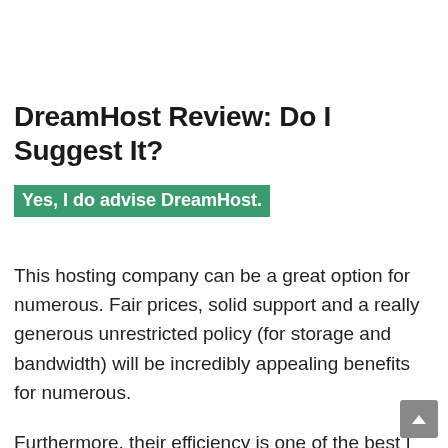DreamHost Review: Do I Suggest It?
Yes, I do advise DreamHost.
This hosting company can be a great option for numerous. Fair prices, solid support and a really generous unrestricted policy (for storage and bandwidth) will be incredibly appealing benefits for numerous.
Furthermore, their efficiency is one of the best I have actually attempted, implying that your job (even huge websites) will be safely hosted at DreamHost.